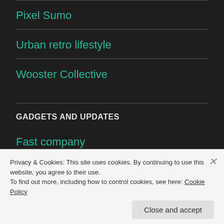Pixel Sumo
Urban retro lifestyle
Wooster Collective
GADGETS AND UPDATES
Fast company
Privacy & Cookies: This site uses cookies. By continuing to use this website, you agree to their use.
To find out more, including how to control cookies, see here: Cookie Policy